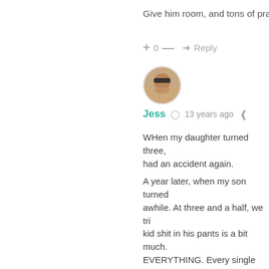Give him room, and tons of prais
+ 0 — → Reply
[Figure (photo): Circular avatar photo of a woman wearing sunglasses]
Jess  13 years ago
WHen my daughter turned three, had an accident again. A year later, when my son turned awhile. At three and a half, we tri kid shit in his pants is a bit much. EVERYTHING. Every single piec worked. Since he was getting rea getting a little panicky. In August (he turns 4 in Dec), one says "I'm wearing unnawear toda to put on a diaper again.